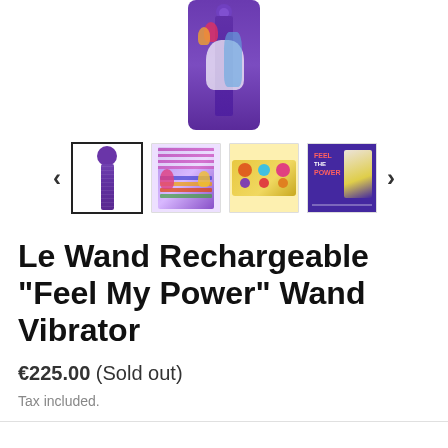[Figure (photo): Main product image showing Le Wand 'Feel My Power' wand vibrator — a purple wand with colorful illustrated characters on packaging, shown centered at top of page]
[Figure (photo): Thumbnail carousel showing 4 product images: (1) selected wand vibrator alone on white background with black border, (2) product packaging front with colorful illustrated characters, (3) product box viewed from side/angle showing yellow box with character illustrations, (4) purple card/poster with 'Feel My Power' branding and illustrated character. Left and right navigation arrows flank the thumbnails.]
Le Wand Rechargeable "Feel My Power" Wand Vibrator
€225.00 (Sold out)
Tax included.